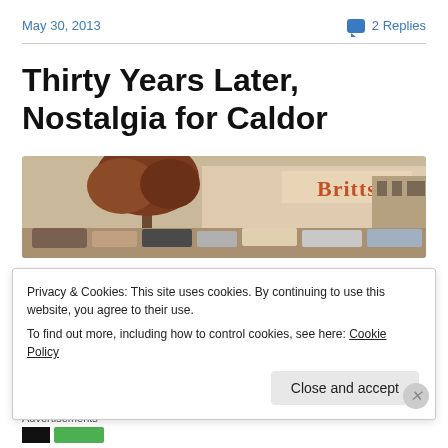May 30, 2013    2 Replies
Thirty Years Later, Nostalgia for Caldor
[Figure (photo): Vintage photograph of a Britts store exterior with parking lot, cars, and a large tree in the foreground. Sepia/warm toned old photograph.]
Privacy & Cookies: This site uses cookies. By continuing to use this website, you agree to their use.
To find out more, including how to control cookies, see here: Cookie Policy
Close and accept
Advertisements